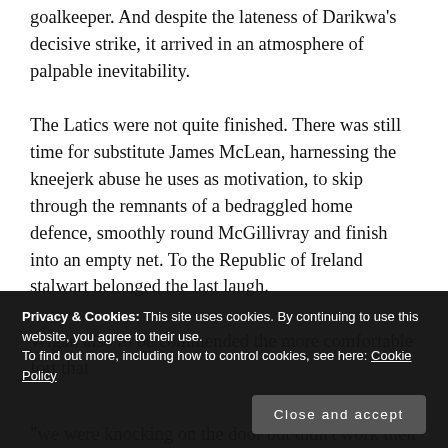goalkeeper. And despite the lateness of Darikwa's decisive strike, it arrived in an atmosphere of palpable inevitability.
The Latics were not quite finished. There was still time for substitute James McLean, harnessing the kneejerk abuse he uses as motivation, to skip through the remnants of a bedraggled home defence, smoothly round McGillivray and finish into an empty net. To the Republic of Ireland stalwart belonged the last laugh.
Wigan also to be commended the more comfortable fort that
Privacy & Cookies: This site uses cookies. By continuing to use this website, you agree to their use.
To find out more, including how to control cookies, see here: Cookie Policy
Close and accept
“we were knocking on the door but didn’t work their